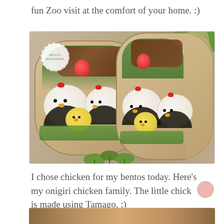fun Zoo visit at the comfort of your home. :)
[Figure (photo): Two wooden bento boxes containing onigiri shaped as chickens and chicks, with toppings including strawberries, broccoli, and meat. A watermark badge reads 'BENTO MONSTERS'. Green herbs are visible below the boxes.]
I chose chicken for my bentos today. Here's my onigiri chicken family. The little chick is made using Tamago. :)
[Figure (photo): Partial view of another food photo at the bottom of the page.]